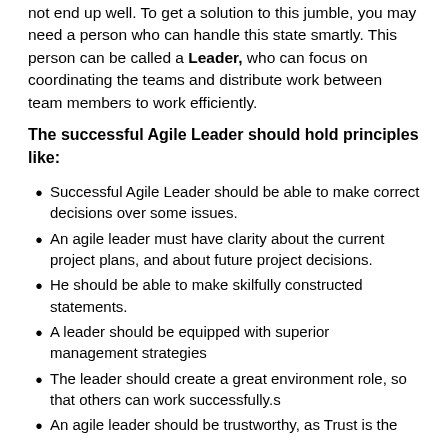not end up well. To get a solution to this jumble, you may need a person who can handle this state smartly. This person can be called a Leader, who can focus on coordinating the teams and distribute work between team members to work efficiently.
The successful Agile Leader should hold principles like:
Successful Agile Leader should be able to make correct decisions over some issues.
An agile leader must have clarity about the current project plans, and about future project decisions.
He should be able to make skilfully constructed statements.
A leader should be equipped with superior management strategies
The leader should create a great environment role, so that others can work successfully.s
An agile leader should be trustworthy, as Trust is the